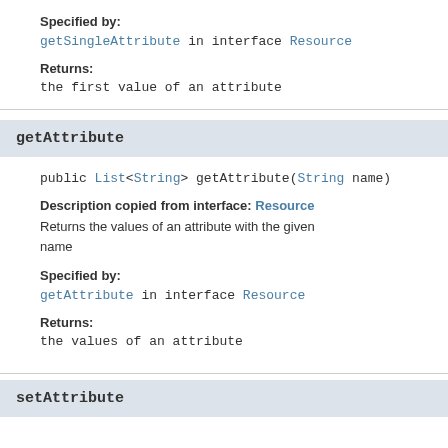Specified by:
getSingleAttribute in interface Resource
Returns:
the first value of an attribute
getAttribute
public List<String> getAttribute(String name)
Description copied from interface: Resource
Returns the values of an attribute with the given name
Specified by:
getAttribute in interface Resource
Returns:
the values of an attribute
setAttribute